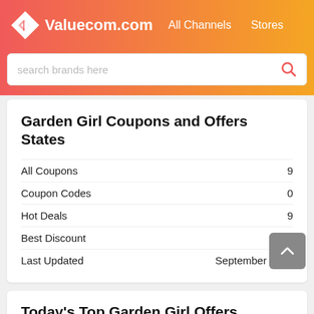Valuecom.com  All Channels  Stores
[Figure (screenshot): Search bar with placeholder text 'search brands here' and a red search icon]
Garden Girl Coupons and Offers States
|  |  |
| --- | --- |
| All Coupons | 9 |
| Coupon Codes | 0 |
| Hot Deals | 9 |
| Best Discount | 55% |
| Last Updated | September 2022 |
Today's Top Garden Girl Offers
GardenGirl's One-Time Consultation For $200
Get Your Free Season Planting Schedule